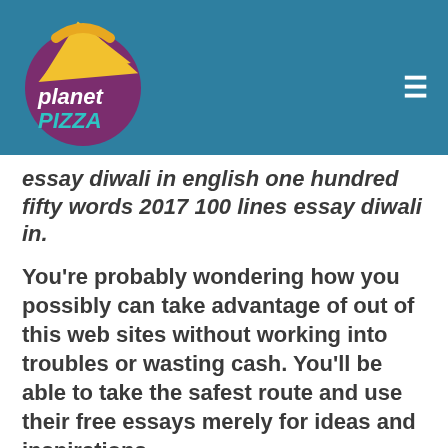[Figure (logo): Planet Pizza logo — circular purple background with a yellow pizza slice, white text reading 'planet' and teal text reading 'PIZZA']
essay diwali in english one hundred fifty words 2017 100 lines essay diwali in.
You're probably wondering how you possibly can take advantage of out of this web sites without working into troubles or wasting cash. You'll be able to take the safest route and use their free essays merely for ideas and inspirations